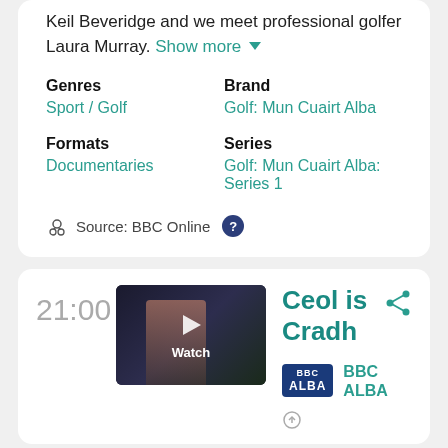Keil Beveridge and we meet professional golfer Laura Murray. Show more
Genres
Sport / Golf
Brand
Golf: Mun Cuairt Alba
Formats
Documentaries
Series
Golf: Mun Cuairt Alba: Series 1
Source: BBC Online
21:00
[Figure (photo): Thumbnail image for Ceol is Cradh programme with play button and Watch label overlay]
Ceol is Cradh
[Figure (logo): BBC ALBA channel logo badge in dark blue]
BBC ALBA